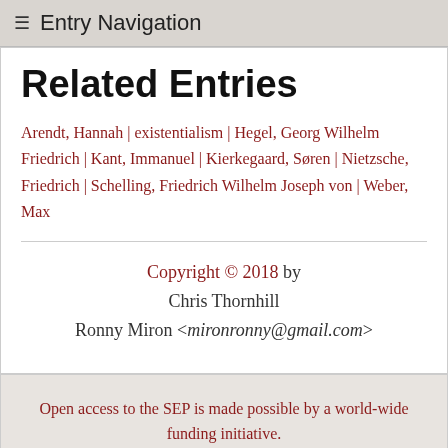≡ Entry Navigation
Related Entries
Arendt, Hannah | existentialism | Hegel, Georg Wilhelm Friedrich | Kant, Immanuel | Kierkegaard, Søren | Nietzsche, Friedrich | Schelling, Friedrich Wilhelm Joseph von | Weber, Max
Copyright © 2018 by
Chris Thornhill
Ronny Miron <mironronny@gmail.com>
Open access to the SEP is made possible by a world-wide funding initiative.
Please Read How You Can Help Keep the Encyclopedia Free